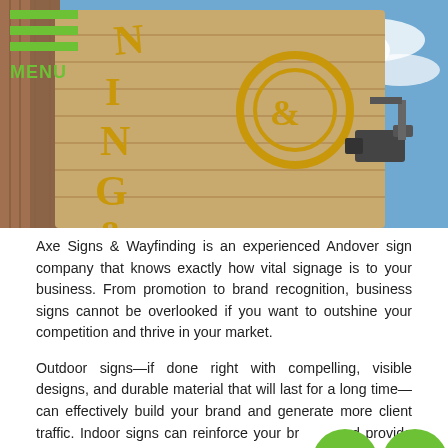MENU
[Figure (photo): Close-up photo of a wooden hanging sign with gold/yellow letters against a blue sky with clouds. A security camera is visible in the background.]
Axe Signs & Wayfinding is an experienced Andover sign company that knows exactly how vital signage is to your business. From promotion to brand recognition, business signs cannot be overlooked if you want to outshine your competition and thrive in your market.
Outdoor signs—if done right with compelling, visible designs, and durable material that will last for a long time—can effectively build your brand and generate more client traffic. Indoor signs can reinforce your brand and provide valuable information with visually appealing graphics that